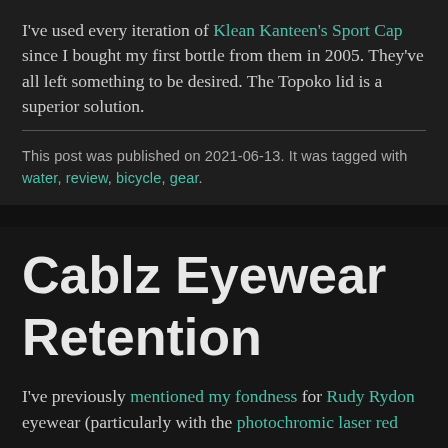I've used every iteration of Klean Kanteen's Sport Cap since I bought my first bottle from them in 2005. They've all left something to be desired. The Topoko lid is a superior solution.
This post was published on 2021-06-13. It was tagged with water, review, bicycle, gear.
Cablz Eyewear Retention
I've previously mentioned my fondness for Rudy Rydon eyewear (particularly with the photochromic laser red